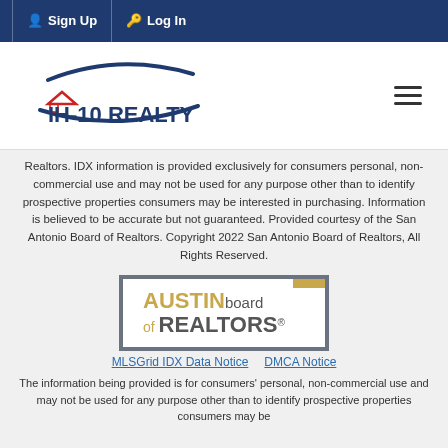Sign Up  Log In
[Figure (logo): IH-10 Realty logo with house icon and swoosh graphic, alongside hamburger menu icon]
Realtors. IDX information is provided exclusively for consumers personal, non-commercial use and may not be used for any purpose other than to identify prospective properties consumers may be interested in purchasing. Information is believed to be accurate but not guaranteed. Provided courtesy of the San Antonio Board of Realtors. Copyright 2022 San Antonio Board of Realtors, All Rights Reserved.
[Figure (logo): Austin Board of REALTORS logo in gold and grey colors with border box]
MLSGrid IDX Data Notice    DMCA Notice
The information being provided is for consumers' personal, non-commercial use and may not be used for any purpose other than to identify prospective properties consumers may be